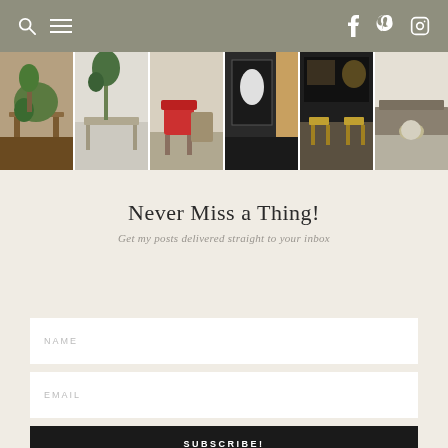Navigation bar with search, menu, and social icons (Facebook, Pinterest, Instagram)
[Figure (photo): Horizontal strip of six interior design room photos: dining room with plants and vases, living room with plant and bench, living room with red chair, room with bird art and door, bedroom with wall art and golden stools, bedroom with sofa and round table]
Never Miss a Thing!
Get my posts delivered straight to your inbox
NAME
EMAIL
SUBSCRIBE!